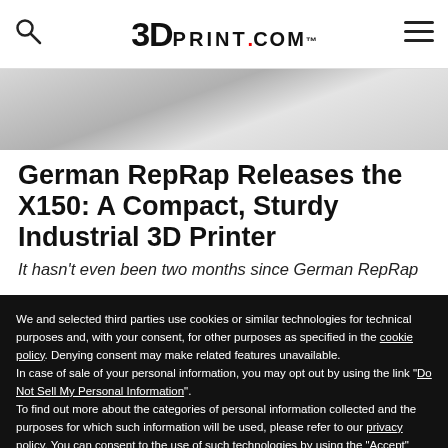3DPrint.com
[Figure (photo): Partial image of a 3D printer, showing grey angular components against a light background]
German RepRap Releases the X150: A Compact, Sturdy Industrial 3D Printer
It hasn't even been two months since German RepRap
We and selected third parties use cookies or similar technologies for technical purposes and, with your consent, for other purposes as specified in the cookie policy. Denying consent may make related features unavailable.
In case of sale of your personal information, you may opt out by using the link "Do Not Sell My Personal Information".
To find out more about the categories of personal information collected and the purposes for which such information will be used, please refer to our privacy policy.
You can consent to the use of such technologies by using the "Accept" button, by scrolling this page, by interacting with any link or button outside of this notice or by continuing to browse otherwise.
Reject
Accept
Learn more and customize